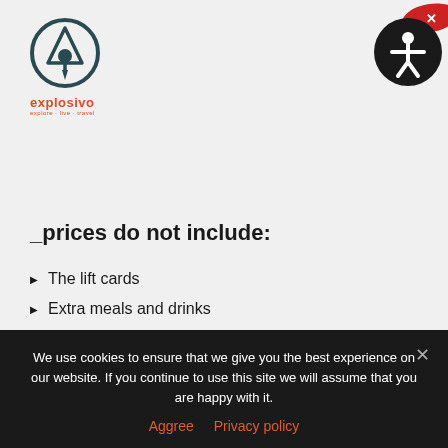[Figure (logo): Explosivo travel logo — circular mountain/pin icon in dark teal, with 'explosivo' in red and 'explore·live·travel' tagline below]
[Figure (other): Accessibility widget button — black circular badge with person icon and red close X badge in top-right corner]
_prices do not include:
The lift cards
Extra meals and drinks
_ski & Snowboard lessons :
During the periods of organized excursions in Pamporovo you can schedule ski & snowboard courses for children with teachers of our schools Explosivo Ski School & Explosivo Snowboard
We use cookies to ensure that we give you the best experience on our website. If you continue to use this site we will assume that you are happy with it.
Aggree   Privacy policy